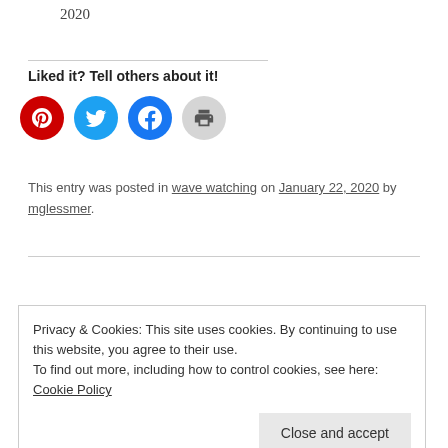2020
Liked it? Tell others about it!
[Figure (other): Social share buttons: Pinterest (red), Twitter (blue), Facebook (blue), Print (gray)]
This entry was posted in wave watching on January 22, 2020 by mglessmer.
Privacy & Cookies: This site uses cookies. By continuing to use this website, you agree to their use.
To find out more, including how to control cookies, see here: Cookie Policy